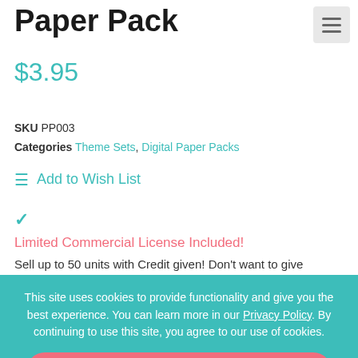Paper Pack
$3.95
SKU PP003
Categories Theme Sets, Digital Paper Packs
Add to Wish List
✓
Limited Commercial License Included!
Sell up to 50 units with Credit given! Don't want to give
This site uses cookies to provide functionality and give you the best experience. You can learn more in our Privacy Policy. By continuing to use this site, you agree to our use of cookies.
Accept & Continue